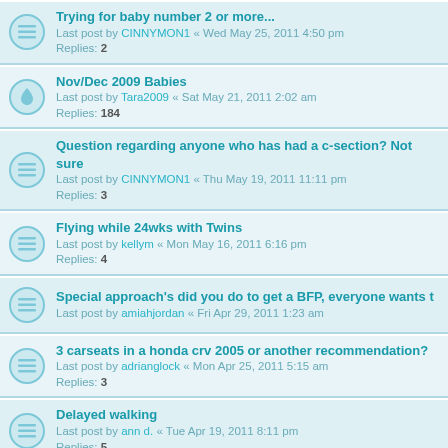Trying for baby number 2 or more... | Last post by CINNYMON1 « Wed May 25, 2011 4:50 pm | Replies: 2
Nov/Dec 2009 Babies | Last post by Tara2009 « Sat May 21, 2011 2:02 am | Replies: 184
Question regarding anyone who has had a c-section? Not sure | Last post by CINNYMON1 « Thu May 19, 2011 11:11 pm | Replies: 3
Flying while 24wks with Twins | Last post by kellym « Mon May 16, 2011 6:16 pm | Replies: 4
Special approach's did you do to get a BFP, everyone wants t | Last post by amiahjordan « Fri Apr 29, 2011 1:23 am
3 carseats in a honda crv 2005 or another recommendation? | Last post by adrianglock « Mon Apr 25, 2011 5:15 am | Replies: 3
Delayed walking | Last post by ann d. « Tue Apr 19, 2011 8:11 pm | Replies: 5
NOT SLEEPING THROUGH THE NIGHT! HELP | Last post by Tara2009 « Mon Apr 11, 2011 2:03 am | Replies: 11
Miracle turning 1.... | Last post by brit1612 « Wed Mar 30, 2011 4:15 pm
Feb 2009 Moms